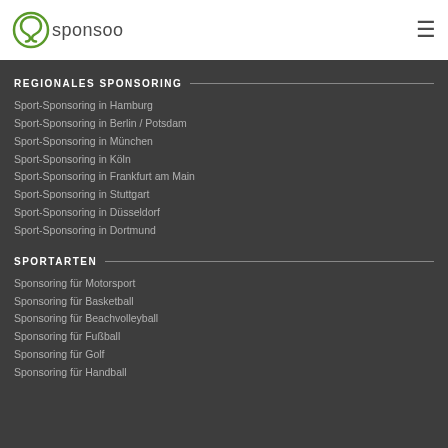[Figure (logo): Sponsoo logo with circular icon and text]
REGIONALES SPONSORING
Sport-Sponsoring in Hamburg
Sport-Sponsoring in Berlin / Potsdam
Sport-Sponsoring in München
Sport-Sponsoring in Köln
Sport-Sponsoring in Frankfurt am Main
Sport-Sponsoring in Stuttgart
Sport-Sponsoring in Düsseldorf
Sport-Sponsoring in Dortmund
SPORTARTEN
Sponsoring für Motorsport
Sponsoring für Basketball
Sponsoring für Beachvolleyball
Sponsoring für Fußball
Sponsoring für Golf
Sponsoring für Handball